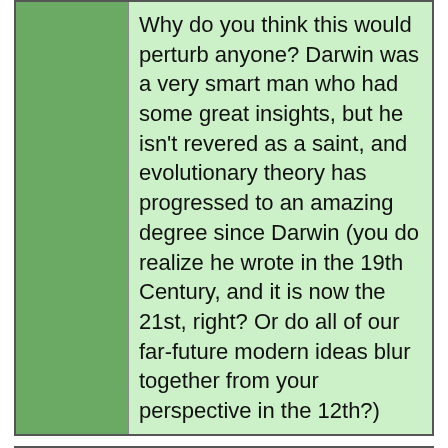|  | Why do you think this would perturb anyone? Darwin was a very smart man who had some great insights, but he isn't revered as a saint, and evolutionary theory has progressed to an amazing degree since Darwin (you do realize he wrote in the 19th Century, and it is now the 21st, right? Or do all of our far-future modern ideas blur together from your perspective in the 12th?) |
| Feedback Letter |
| --- |
| From: | Ed Hensley |
| Comment: | I have college degrees in computer science, but have fallen in love with evolution in recent years. I collect data on atavisms and unusual biological specimens, such as humans with tails, humans with six fingers and toes, humans with... |